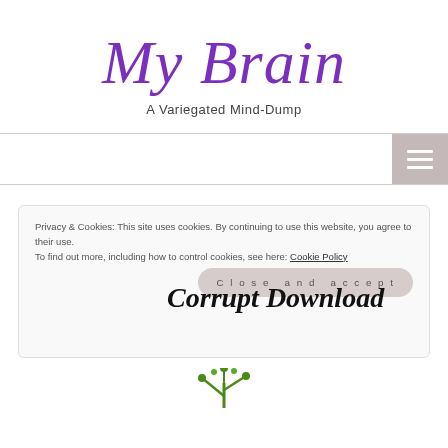My Brain
A Variegated Mind-Dump
[Figure (screenshot): Navigation bar with hamburger menu icon on taupe/mauve background on right side]
Privacy & Cookies: This site uses cookies. By continuing to use this website, you agree to their use. To find out more, including how to control cookies, see here: Cookie Policy
Corrupt Download
Close and accept
[Figure (illustration): Top of a green plant illustration visible at bottom of page]